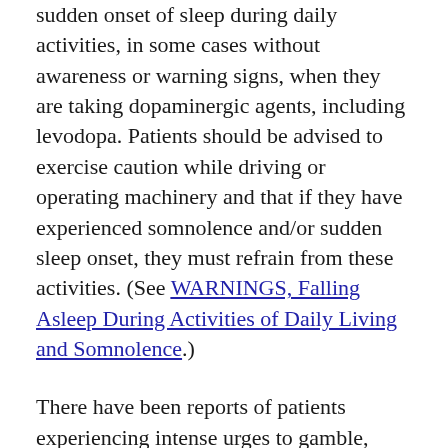sudden onset of sleep during daily activities, in some cases without awareness or warning signs, when they are taking dopaminergic agents, including levodopa. Patients should be advised to exercise caution while driving or operating machinery and that if they have experienced somnolence and/or sudden sleep onset, they must refrain from these activities. (See WARNINGS, Falling Asleep During Activities of Daily Living and Somnolence.)
There have been reports of patients experiencing intense urges to gamble, increased sexual urges, and other intense urges, and the inability to control these urges while taking one or more of the medications that increase central dopaminergic tone and...